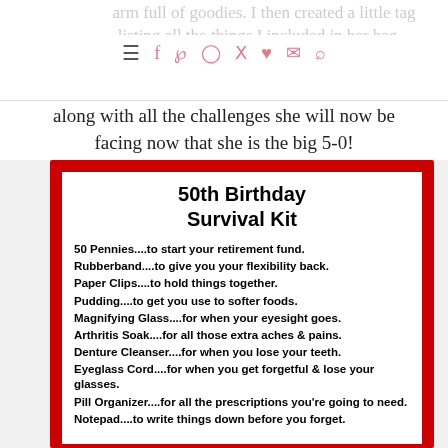arm full of goodies. I then created a little tag listing all the things I included in her bag...
along with all the challenges she will now be facing now that she is the big 5-0!
50th Birthday Survival Kit
50 Pennies....to start your retirement fund.
Rubberband....to give you your flexibility back.
Paper Clips....to hold things together.
Pudding....to get you use to softer foods.
Magnifying Glass....for when your eyesight goes.
Arthritis Soak....for all those extra aches & pains.
Denture Cleanser....for when you lose your teeth.
Eyeglass Cord....for when you get forgetful & lose your glasses.
Pill Organizer....for all the prescriptions you're going to need.
Notepad....to write things down before you forget.